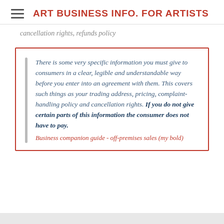ART BUSINESS INFO. FOR ARTISTS
Cancellation rights, refunds policy
There is some very specific information you must give to consumers in a clear, legible and understandable way before you enter into an agreement with them. This covers such things as your trading address, pricing, complaint-handling policy and cancellation rights. If you do not give certain parts of this information the consumer does not have to pay. Business companion guide - off-premises sales (my bold)